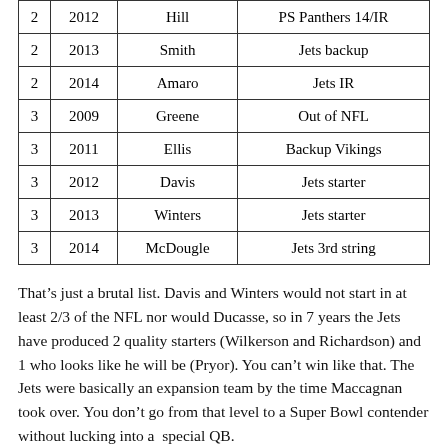| Round | Year | Name | Outcome |
| --- | --- | --- | --- |
| 2 | 2012 | Hill | PS Panthers 14/IR |
| 2 | 2013 | Smith | Jets backup |
| 2 | 2014 | Amaro | Jets IR |
| 3 | 2009 | Greene | Out of NFL |
| 3 | 2011 | Ellis | Backup Vikings |
| 3 | 2012 | Davis | Jets starter |
| 3 | 2013 | Winters | Jets starter |
| 3 | 2014 | McDougle | Jets 3rd string |
That's just a brutal list. Davis and Winters would not start in at least 2/3 of the NFL nor would Ducasse, so in 7 years the Jets have produced 2 quality starters (Wilkerson and Richardson) and 1 who looks like he will be (Pryor). You can't win like that. The Jets were basically an expansion team by the time Maccagnan took over. You don't go from that level to a Super Bowl contender without lucking into a  special QB.
I'm as guilty as anyone of looking at some of the names on